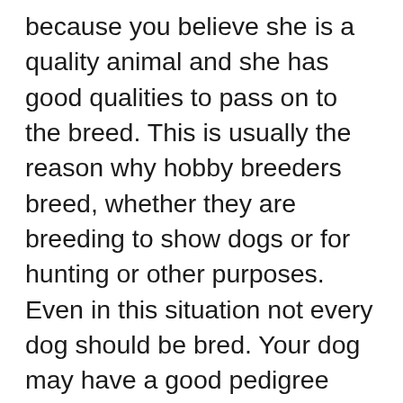because you believe she is a quality animal and she has good qualities to pass on to the breed. This is usually the reason why hobby breeders breed, whether they are breeding to show dogs or for hunting or other purposes. Even in this situation not every dog should be bred. Your dog may have a good pedigree and impressive relatives. You may watch dog shows on television and see your dog's family being shown. But in order to be worthy of breeding you should ask yourself if your own